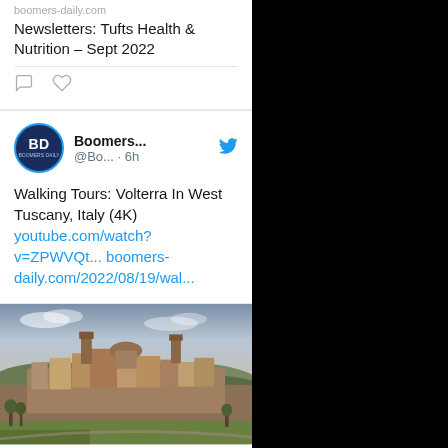boomers-daily.com
Newsletters: Tufts Health & Nutrition – Sept 2022
[Figure (screenshot): Tweet from Boomers Daily account about Walking Tours: Volterra In West Tuscany, Italy (4K) with links to youtube.com/watch?v=ZPWVQt... and boomers-daily.com/2022/08/19/wal...]
[Figure (photo): Aerial photo of Volterra, a hilltop medieval town in West Tuscany, Italy, showing stone buildings, towers, and terracotta rooftops against a dramatic sky]
boomers-daily.com
Walking Tours: Volterra In